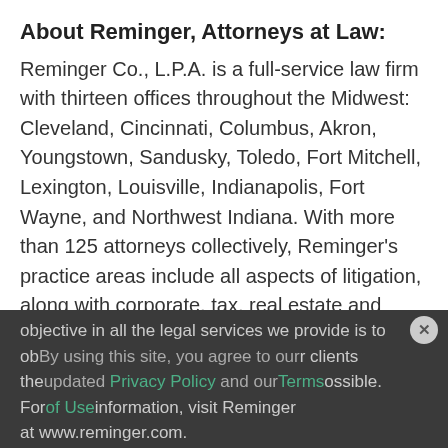About Reminger, Attorneys at Law:
Reminger Co., L.P.A. is a full-service law firm with thirteen offices throughout the Midwest: Cleveland, Cincinnati, Columbus, Akron, Youngstown, Sandusky, Toledo, Fort Mitchell, Lexington, Louisville, Indianapolis, Fort Wayne, and Northwest Indiana. With more than 125 attorneys collectively, Reminger's practice areas include all aspects of litigation, along with corporate, tax, real estate and probate matters. Our fundamental objective in all the legal services we provide is to ob[tain the best possible results for our clients] the[best possible outcome] possible. For[more] information, visit Reminger at www.reminger.com.
By using this site, you agree to our updated Privacy Policy and our Terms of Use.